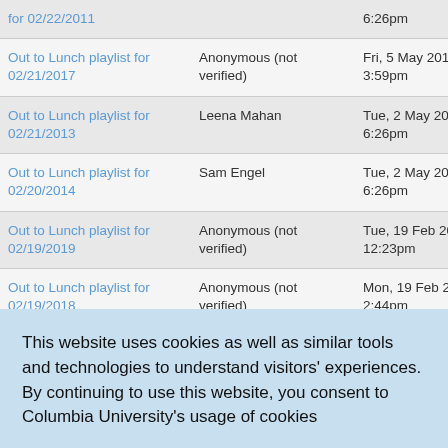| Title | Author | Date |
| --- | --- | --- |
| for 02/22/2011 |  | 6:26pm |
| Out to Lunch playlist for 02/21/2017 | Anonymous (not verified) | Fri, 5 May 2017, 3:59pm |
| Out to Lunch playlist for 02/21/2013 | Leena Mahan | Tue, 2 May 2017, 6:26pm |
| Out to Lunch playlist for 02/20/2014 | Sam Engel | Tue, 2 May 2017, 6:26pm |
| Out to Lunch playlist for 02/19/2019 | Anonymous (not verified) | Tue, 19 Feb 2019, 12:23pm |
| Out to Lunch playlist for 02/19/2018 | Anonymous (not verified) | Mon, 19 Feb 2018, 2:44pm |
| Out to Lunch playlist for 02/... | Tess Domb Sadof | Tue, 2 May 2017, |
This website uses cookies as well as similar tools and technologies to understand visitors' experiences. By continuing to use this website, you consent to Columbia University's usage of cookies